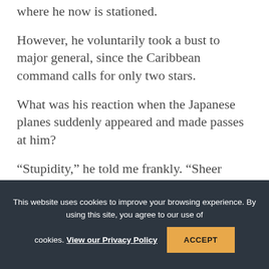where he now is stationed.
However, he voluntarily took a bust to major general, since the Caribbean command calls for only two stars.
What was his reaction when the Japanese planes suddenly appeared and made passes at him?
“Stupidity,” he told me frankly. “Sheer stupidity.”
This website uses cookies to improve your browsing experience. By using this site, you agree to our use of cookies. View our Privacy Policy  ACCEPT